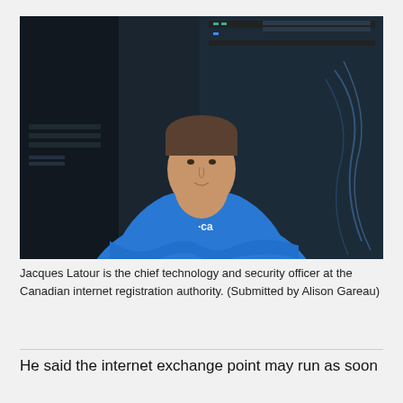[Figure (photo): A man in a blue polo shirt with .ca logo stands with arms crossed in front of server rack equipment. He is Jacques Latour, chief technology and security officer at the Canadian internet registration authority.]
Jacques Latour is the chief technology and security officer at the Canadian internet registration authority. (Submitted by Alison Gareau)
He said the internet exchange point may run as soon